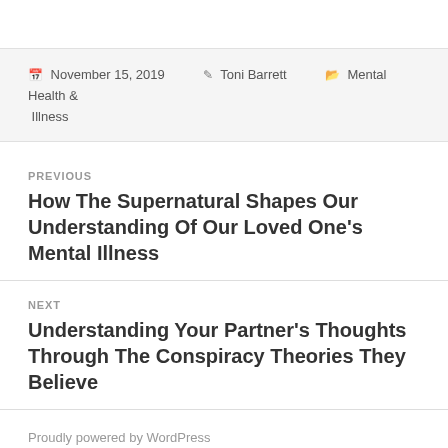📅 November 15, 2019  👤 Toni Barrett  🗂 Mental Health & Illness
PREVIOUS
How The Supernatural Shapes Our Understanding Of Our Loved One's Mental Illness
NEXT
Understanding Your Partner's Thoughts Through The Conspiracy Theories They Believe
Proudly powered by WordPress